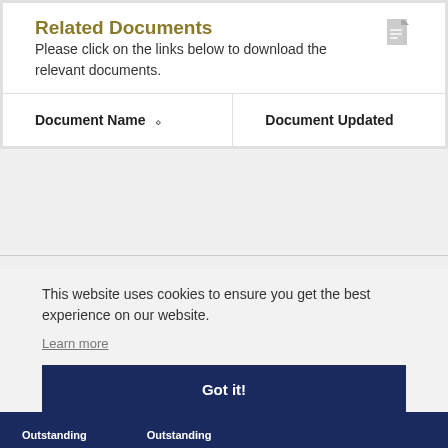Related Documents
Please click on the links below to download the relevant documents.
| Document Name | Document Updated |
| --- | --- |
This website uses cookies to ensure you get the best experience on our website.
Learn more
Got it!
Outstanding   Outstanding